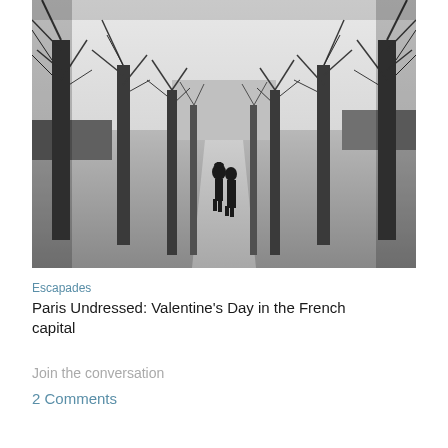[Figure (photo): Black and white photograph of a tree-lined avenue in Paris. Two people walk away from the camera down a snow-dusted path flanked by rows of bare winter trees receding into the distance.]
Escapades
Paris Undressed: Valentine's Day in the French capital
Join the conversation
2 Comments